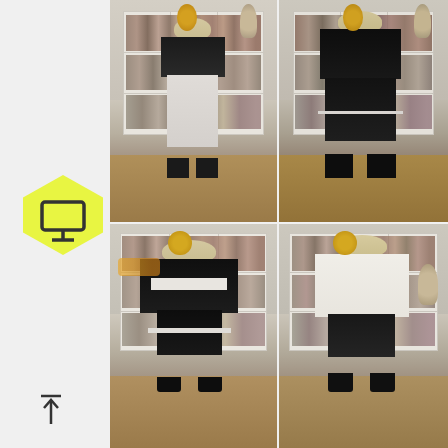[Figure (photo): Four fashion editorial photographs arranged in a 2x2 grid. Each photo shows the same blonde model wearing different outfits (black and white fashion pieces including t-shirts, trousers, shorts, jackets) posed in front of a white bookshelf filled with books and decorative objects in a domestic interior setting. Top-left: model in black top with graphic print, white wide-leg trousers, black boots. Top-right: model in dark outfit with black jacket and shorts. Bottom-left: model in black leather-look jacket with white shirt underneath, skirt. Bottom-right: model in white oversized shirt with dark shorts. A yellow hexagon icon with a monitor/screen symbol overlays the left edge of the top-left image. A small upward arrow icon appears at the bottom-left of the page.]